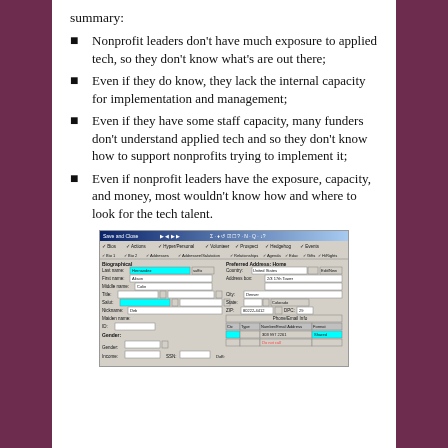summary:
Nonprofit leaders don't have much exposure to applied tech, so they don't know what's are out there;
Even if they do know, they lack the internal capacity for implementation and management;
Even if they have some staff capacity, many funders don't understand applied tech and so they don't know how to support nonprofits trying to implement it;
Even if nonprofit leaders have the exposure, capacity, and money, most wouldn't know how and where to look for the tech talent.
[Figure (screenshot): Screenshot of a nonprofit CRM/database software showing biographical data entry form with fields for name, address, and contact information. The interface appears to be a Windows-era database application with tabs for different record types.]